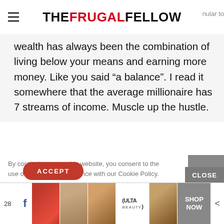THE FRUGAL FELLOW
wealth has always been the combination of living below your means and earning more money. Like you said “a balance”. I read it somewhere that the average millionaire has 7 streams of income. Muscle up the hustle.
By continuing to use this website, you consent to the use of cookies in accordance with our Cookie Policy.
28  ACCEPT  CLOSE  SHOP NOW